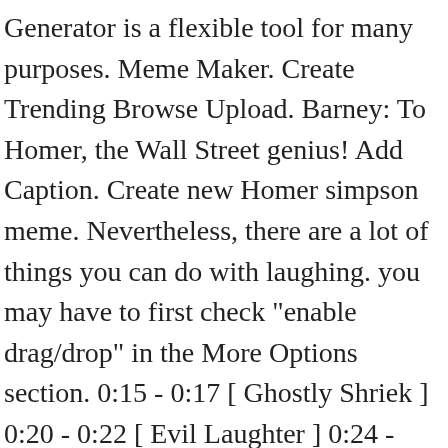Generator is a flexible tool for many purposes. Meme Maker. Create Trending Browse Upload. Barney: To Homer, the Wall Street genius! Add Caption. Create new Homer simpson meme. Nevertheless, there are a lot of things you can do with laughing. you may have to first check "enable drag/drop" in the More Options section. 0:15 - 0:17 [ Ghostly Shriek ] 0:20 - 0:22 [ Evil Laughter ] 0:24 - 0:25 [ Gunfire ] 0:27 - 0:29 [ All Moaning ] 0:40 - 0:42. Add Caption. In the meme, the character Moe can be seen physically removing his friend and bar patron Barney from Moe's Tavern